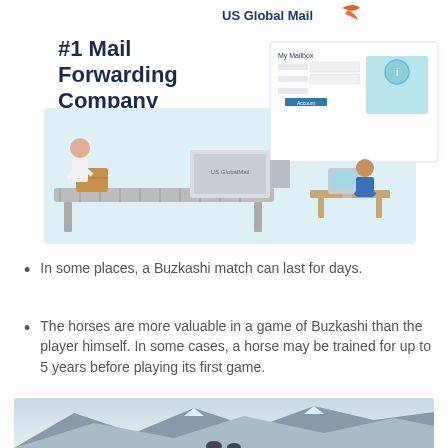[Figure (illustration): US Global Mail advertisement banner showing #1 Mail Forwarding Company with an orange LEARN MORE button, and an illustration of a mail processing facility with conveyor belt, scanning machine, a worker, and a computer dashboard interface.]
In some places, a Buzkashi match can last for days.
The horses are more valuable in a game of Buzkashi than the player himself. In some cases, a horse may be trained for up to 5 years before playing its first game.
[Figure (photo): Bottom strip of a mountain landscape photo showing snowy peaks and figures.]